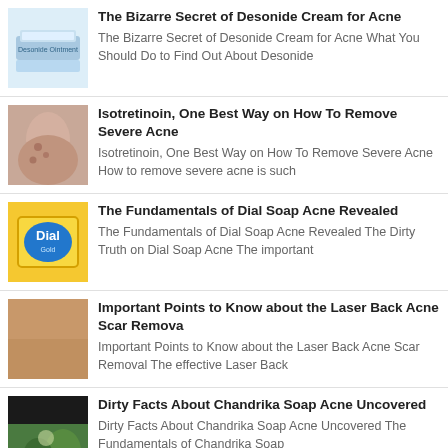The Bizarre Secret of Desonide Cream for Acne
The Bizarre Secret of Desonide Cream for Acne What You Should Do to Find Out About Desonide
Isotretinoin, One Best Way on How To Remove Severe Acne
Isotretinoin, One Best Way on How To Remove Severe Acne How to remove severe acne is such
The Fundamentals of Dial Soap Acne Revealed
The Fundamentals of Dial Soap Acne Revealed The Dirty Truth on Dial Soap Acne The important
Important Points to Know about the Laser Back Acne Scar Remova
Important Points to Know about the Laser Back Acne Scar Removal The effective Laser Back
Dirty Facts About Chandrika Soap Acne Uncovered
Dirty Facts About Chandrika Soap Acne Uncovered The Fundamentals of Chandrika Soap
Making the Best Acne Mark Remover from Scratch